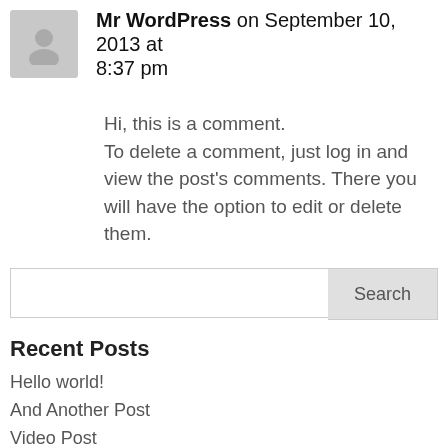Mr WordPress on September 10, 2013 at 8:37 pm
Hi, this is a comment. To delete a comment, just log in and view the post's comments. There you will have the option to edit or delete them.
Search
Recent Posts
Hello world!
And Another Post
Video Post
Design is Science